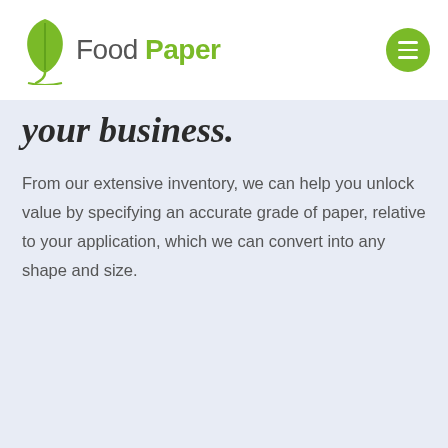[Figure (logo): Food Paper logo with green leaf icon and company name]
your business.
From our extensive inventory, we can help you unlock value by specifying an accurate grade of paper, relative to your application, which we can convert into any shape and size.